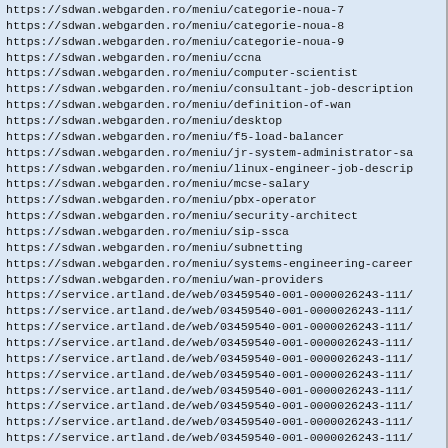https://sdwan.webgarden.ro/meniu/categorie-noua-7
https://sdwan.webgarden.ro/meniu/categorie-noua-8
https://sdwan.webgarden.ro/meniu/categorie-noua-9
https://sdwan.webgarden.ro/meniu/ccna
https://sdwan.webgarden.ro/meniu/computer-scientist
https://sdwan.webgarden.ro/meniu/consultant-job-description
https://sdwan.webgarden.ro/meniu/definition-of-wan
https://sdwan.webgarden.ro/meniu/desktop
https://sdwan.webgarden.ro/meniu/f5-load-balancer
https://sdwan.webgarden.ro/meniu/jr-system-administrator-sa
https://sdwan.webgarden.ro/meniu/linux-engineer-job-descrip
https://sdwan.webgarden.ro/meniu/mcse-salary
https://sdwan.webgarden.ro/meniu/pbx-operator
https://sdwan.webgarden.ro/meniu/security-architect
https://sdwan.webgarden.ro/meniu/sip-ssca
https://sdwan.webgarden.ro/meniu/subnetting
https://sdwan.webgarden.ro/meniu/systems-engineering-career
https://sdwan.webgarden.ro/meniu/wan-providers
https://service.artland.de/web/03459540-001-0000026243-111/
https://service.artland.de/web/03459540-001-0000026243-111/
https://service.artland.de/web/03459540-001-0000026243-111/
https://service.artland.de/web/03459540-001-0000026243-111/
https://service.artland.de/web/03459540-001-0000026243-111/
https://service.artland.de/web/03459540-001-0000026243-111/
https://service.artland.de/web/03459540-001-0000026243-111/
https://service.artland.de/web/03459540-001-0000026243-111/
https://service.artland.de/web/03459540-001-0000026243-111/
https://service.artland.de/web/03459540-001-0000026243-111/
https://service.artland.de/web/03459540-001-0000026243-111/
https://service.artland.de/web/03459540-001-0000026243-111/